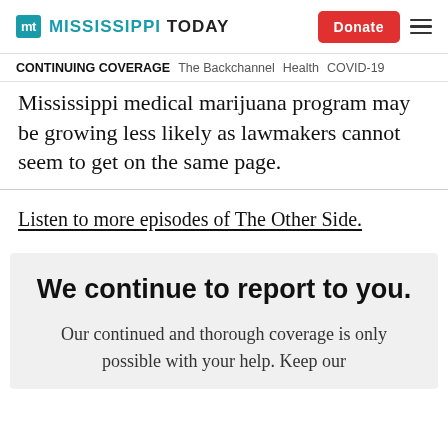MT MISSISSIPPI TODAY | Donate | ≡
CONTINUING COVERAGE   The Backchannel   Health   COVID-19
Mississippi medical marijuana program may be growing less likely as lawmakers cannot seem to get on the same page.
Listen to more episodes of The Other Side.
We continue to report to you.
Our continued and thorough coverage is only possible with your help. Keep our